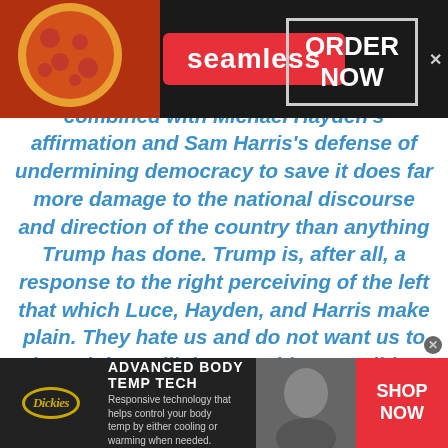[Figure (screenshot): Seamless food delivery advertisement banner at top of page with pizza image, red Seamless button, and ORDER NOW box]
combined with Michael Hayden's affirmation and Sam Harris's defense of undermining democracy to save it does far more damage to the national discourse and direction of the country than anything Trump has done. Trump is, after all, a response to the right perceiving of the left that which Luce, Hayden, and Harris make plain. They hate us and do not want us to win and they will do everything possible to stop us."
[Figure (screenshot): Dickies Advanced Body Temp Tech advertisement banner at bottom of page with logo, product description, photo, and SHOP NOW button]